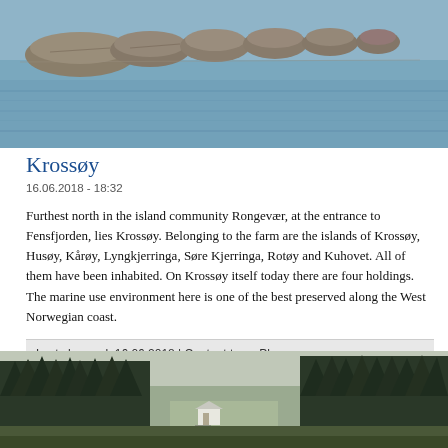[Figure (photo): Aerial or coastal view of rocky island chain in calm blue water, Krossøy area, West Norway]
Krossøy
16.06.2018 - 18:32
Furthest north in the island community Rongevær, at the entrance to Fensfjorden, lies Krossøy. Belonging to the farm are the islands of Krossøy, Husøy, Kårøy, Lyngkjerringa, Søre Kjerringa, Rotøy and Kuhovet. All of them have been inhabited. On Krossøy itself today there are four holdings. The marine use environment here is one of the best preserved along the West Norwegian coast.
Last changed: 16.06.2018 | Content type: Place
[Figure (photo): Landscape photo of Norwegian coastal area with dark conifer trees, calm water, and a small white building visible in the distance]